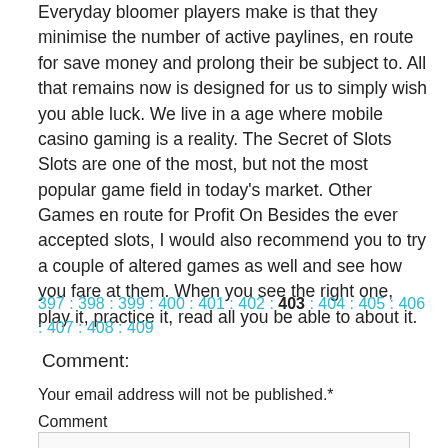Everyday bloomer players make is that they minimise the number of active paylines, en route for save money and prolong their be subject to. All that remains now is designed for us to simply wish you able luck. We live in a age where mobile casino gaming is a reality. The Secret of Slots Slots are one of the most, but not the most popular game field in today's market. Other Games en route for Profit On Besides the ever accepted slots, I would also recommend you to try a couple of altered games as well and see how you fare at them. When you see the right one, play it, practice it, read all you be able to about it.
397 : 398 : 399 : 400 : 401 : 402 : 403 : 404 : 405 : 406 : 407 : 408 : 409
Comment:
Your email address will not be published.*
Comment